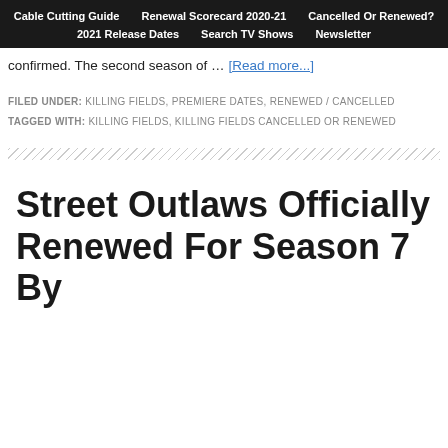Cable Cutting Guide | Renewal Scorecard 2020-21 | Cancelled Or Renewed? | 2021 Release Dates | Search TV Shows | Newsletter
confirmed. The second season of … [Read more...]
FILED UNDER: KILLING FIELDS, PREMIERE DATES, RENEWED / CANCELLED
TAGGED WITH: KILLING FIELDS, KILLING FIELDS CANCELLED OR RENEWED
Street Outlaws Officially Renewed For Season 7 By